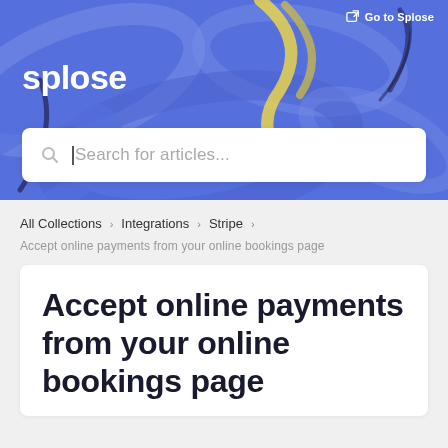[Figure (screenshot): Splose help center banner with blue swirl background, splose logo in white, and search bar]
Go to Splose
splose
Search for articles...
All Collections > Integrations > Stripe
Accept online payments from your online bookings page
Accept online payments from your online bookings page